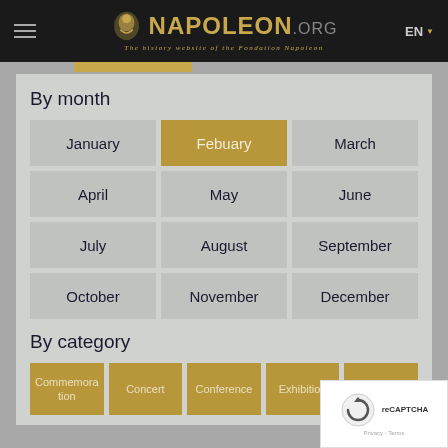NAPOLEON.ORG — The history website of the Fondation Napoleon | EN
By month
January
Febuary
March
April
May
June
July
August
September
October
November
December
By category
Commemoration
Concert
Conference
Exhibition
Family